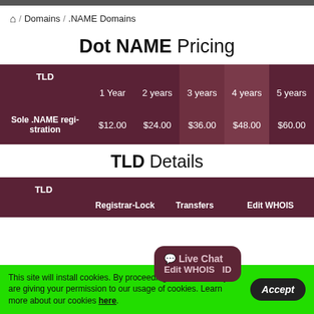🏠 / Domains / .NAME Domains
Dot NAME Pricing
| TLD | 1 Year | 2 years | 3 years | 4 years | 5 years |
| --- | --- | --- | --- | --- | --- |
| Sole .NAME registration | $12.00 | $24.00 | $36.00 | $48.00 | $60.00 |
TLD Details
| TLD | Registrar-Lock | Transfers | Edit WHOIS | ID |
| --- | --- | --- | --- | --- |
This site will install cookies. By proceeding to the website you are giving your permission to our usage of cookies. Learn more about our cookies here.